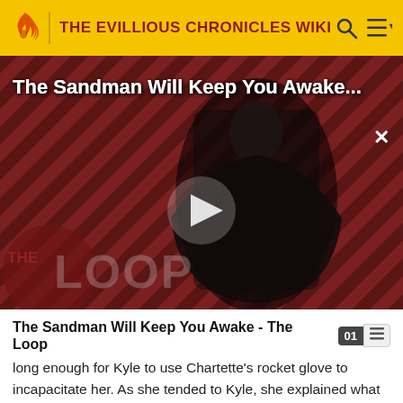THE EVILLIOUS CHRONICLES WIKI
[Figure (screenshot): Video player thumbnail showing 'The Sandman Will Keep You Awake...' with a dark-cloaked figure against a red and black diagonal striped background, with The Loop watermark and a play button overlay.]
The Sandman Will Keep You Awake - The Loop
long enough for Kyle to use Chartette's rocket glove to incapacitate her. As she tended to Kyle, she explained what had happened with the undead army and, after Kyle